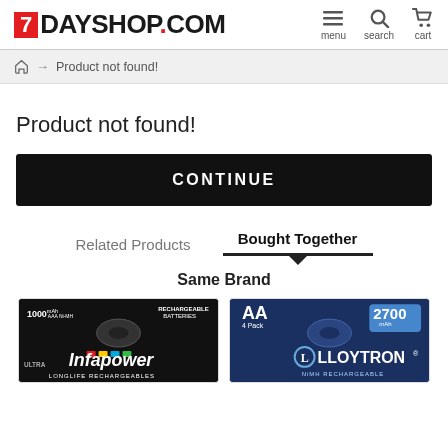7DAYSHOP.COM — menu, search, cart
Home → Product not found!
Product not found!
CONTINUE
Related Products   Bought Together
Same Brand
[Figure (photo): Infapower 1000mAh AAA rechargeable batteries product card on dark background]
[Figure (photo): Lloytron AA 4 Pack 2700mAh rechargeable batteries product card on dark background]